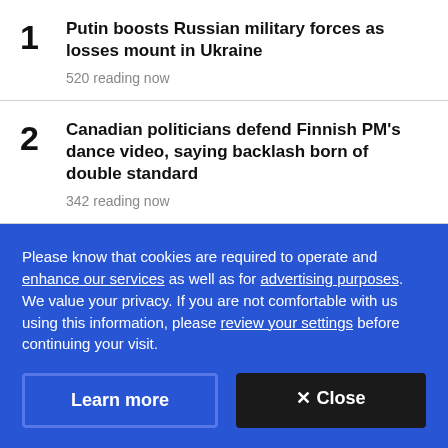1  Putin boosts Russian military forces as losses mount in Ukraine
520 reading now
2  Canadian politicians defend Finnish PM's dance video, saying backlash born of double standard
342 reading now
3  Squamish 'overwhelmed' by people living in vehicles and the garbage left behind, says acting mayor
193 reading now
Please know that cookies are required to operate and enhance our services as well as for advertising purposes. We value your privacy. If you are not comfortable with us using this information, please review your settings before continuing your visit.